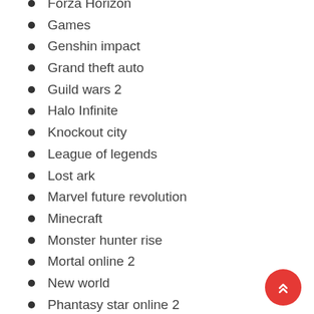Forza Horizon
Games
Genshin impact
Grand theft auto
Guild wars 2
Halo Infinite
Knockout city
League of legends
Lost ark
Marvel future revolution
Minecraft
Monster hunter rise
Mortal online 2
New world
Phantasy star online 2
Pokémon
Pokémon GO
Ragnarok x